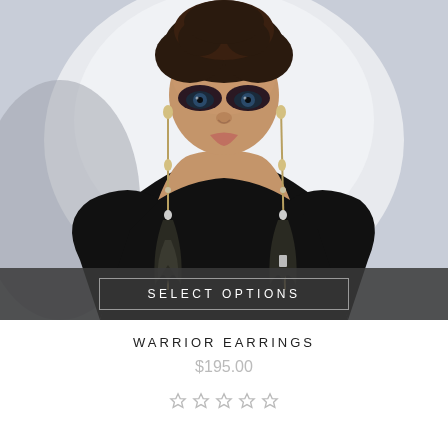[Figure (photo): Woman wearing long feather/gold warrior earrings, dressed in black off-shoulder top, dark dramatic eye makeup, curly updo hair, against white background]
SELECT OPTIONS
WARRIOR EARRINGS
$195.00
★★★★★ (star rating, 5 empty/outlined stars)